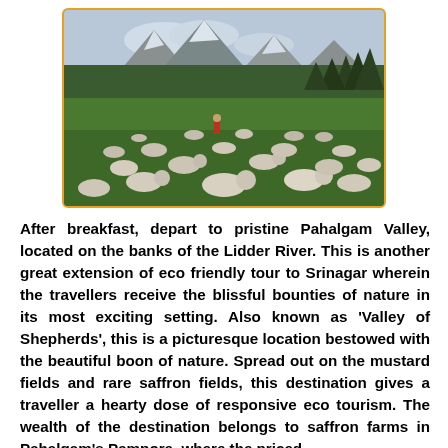[Figure (photo): A large flock of sheep grazing on a lush green mountain valley meadow, with forested mountains and rocky peaks in the background. A person in red is visible in the middle distance among the sheep.]
After breakfast, depart to pristine Pahalgam Valley, located on the banks of the Lidder River. This is another great extension of eco friendly tour to Srinagar wherein the travellers receive the blissful bounties of nature in its most exciting setting. Also known as 'Valley of Shepherds', this is a picturesque location bestowed with the beautiful boon of nature. Spread out on the mustard fields and rare saffron fields, this destination gives a traveller a hearty dose of responsive eco tourism. The wealth of the destination belongs to saffron farms in Pahalgam's Pampore, where the priced